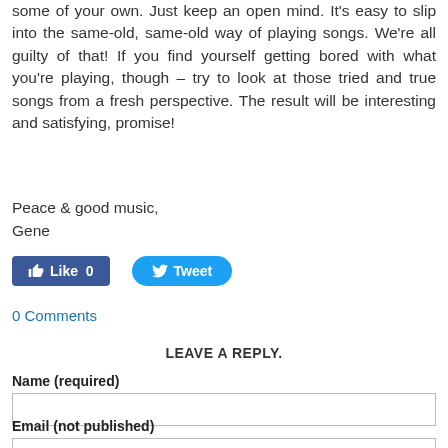some of your own. Just keep an open mind. It's easy to slip into the same-old, same-old way of playing songs. We're all guilty of that! If you find yourself getting bored with what you're playing, though – try to look at those tried and true songs from a fresh perspective. The result will be interesting and satisfying, promise!
Peace & good music,
Gene
[Figure (screenshot): Facebook Like button showing 0 likes and Twitter Tweet button]
0 Comments
LEAVE A REPLY.
Name (required)
Email (not published)